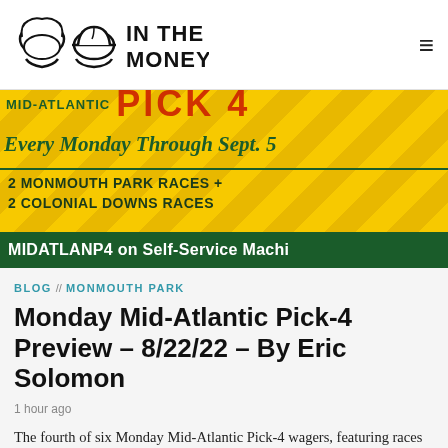IN THE MONEY
[Figure (photo): Mid-Atlantic Pick-4 promotional banner with yellow diagonal stripe background, green script text 'Every Monday Through Sept. 5', bold dark text '2 MONMOUTH PARK RACES + 2 COLONIAL DOWNS RACES', and green bar at bottom reading 'MIDATLANP4 on Self-Service Machi']
BLOG // MONMOUTH PARK
Monday Mid-Atlantic Pick-4 Preview – 8/22/22 – By Eric Solomon
1 hour ago
The fourth of six Monday Mid-Atlantic Pick-4 wagers, featuring races from Monmouth Park and Colonial Downs is set to kick off at 3:49 (ET),